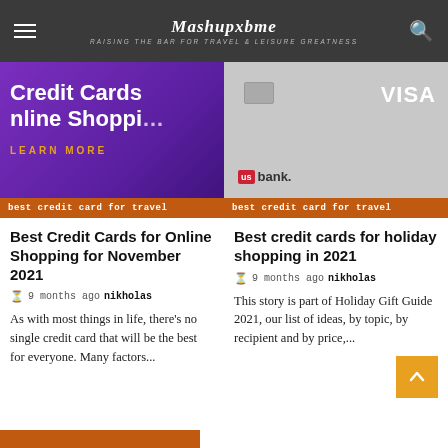Mashupxbme — RAISING THE BAR FOR TRAVEL & LEISURE GREATNESS
[Figure (screenshot): Purple background with text 'Credit Cards Online Shopping LEARN MORE' and orange label 'best credit card for travel']
[Figure (screenshot): US Bank Visa card on gray background with orange label 'best credit card for travel']
Best Credit Cards for Online Shopping for November 2021
9 months ago  nikholas
As with most things in life, there's no single credit card that will be the best for everyone. Many factors...
Best credit cards for holiday shopping in 2021
9 months ago  nikholas
This story is part of Holiday Gift Guide 2021, our list of ideas, by topic, by recipient and by price,...